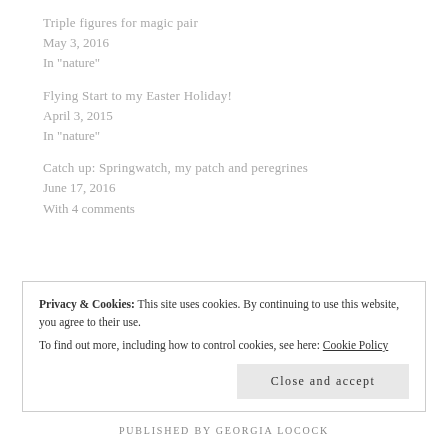Triple figures for magic pair
May 3, 2016
In "nature"
Flying Start to my Easter Holiday!
April 3, 2015
In "nature"
Catch up: Springwatch, my patch and peregrines
June 17, 2016
With 4 comments
Privacy & Cookies: This site uses cookies. By continuing to use this website, you agree to their use.
To find out more, including how to control cookies, see here: Cookie Policy
PUBLISHED BY GEORGIA LOCOCK